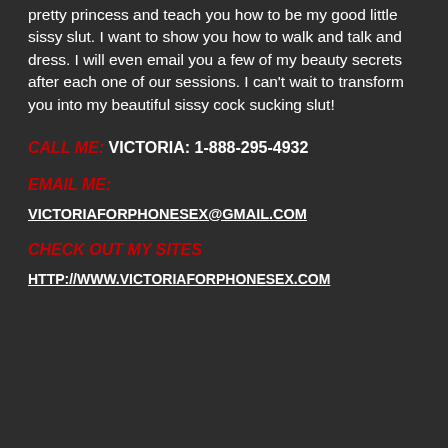pretty princess and teach you how to be my good little sissy slut. I want to show you how to walk and talk and dress. I will even email you a few of my beauty secrets after each one of our sessions. I can't wait to transform you into my beautiful sissy cock sucking slut!
CALL ME: VICTORIA: 1-888-295-4932
EMAIL ME:
VICTORIAFORPHONESEX@GMAIL.COM
CHECK OUT MY SITES
HTTP://WWW.VICTORIAFORPHONESEX.COM